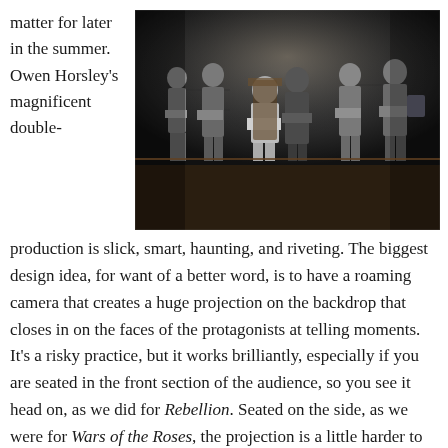matter for later in the summer. Owen Horsley's magnificent double-
[Figure (photo): Theatrical stage production photo showing several actors in medieval armor and costumes on a darkly lit stage set with a wooden backdrop.]
production is slick, smart, haunting, and riveting. The biggest design idea, for want of a better word, is to have a roaming camera that creates a huge projection on the backdrop that closes in on the faces of the protagonists at telling moments. It's a risky practice, but it works brilliantly, especially if you are seated in the front section of the audience, so you see it head on, as we did for Rebellion. Seated on the side, as we were for Wars of the Roses, the projection is a little harder to make out, and the